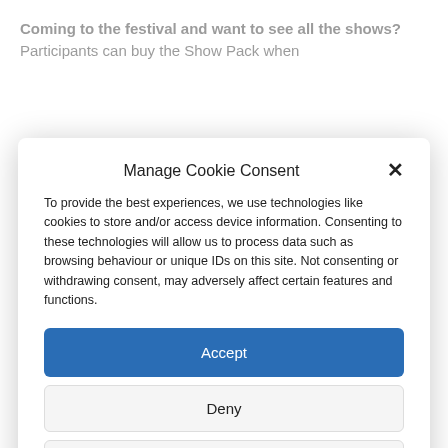Coming to the festival and want to see all the shows? Participants can buy the Show Pack when
Manage Cookie Consent
To provide the best experiences, we use technologies like cookies to store and/or access device information. Consenting to these technologies will allow us to process data such as browsing behaviour or unique IDs on this site. Not consenting or withdrawing consent, may adversely affect certain features and functions.
Accept
Deny
View preferences
Cookie Policy  Privacy Policy